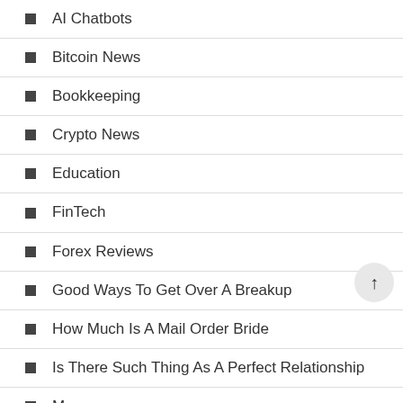AI Chatbots
Bitcoin News
Bookkeeping
Crypto News
Education
FinTech
Forex Reviews
Good Ways To Get Over A Breakup
How Much Is A Mail Order Bride
Is There Such Thing As A Perfect Relationship
Morocco
Payday Loans Near me